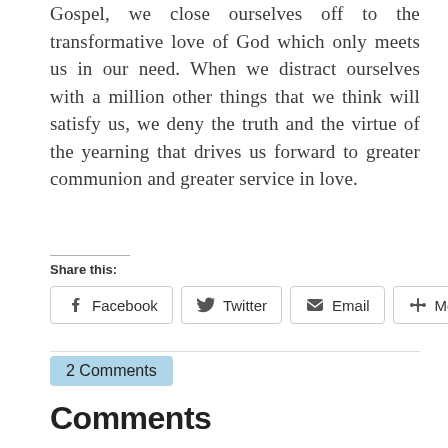Gospel, we close ourselves off to the transformative love of God which only meets us in our need. When we distract ourselves with a million other things that we think will satisfy us, we deny the truth and the virtue of the yearning that drives us forward to greater communion and greater service in love.
Share this:
[Figure (screenshot): Share buttons row: Facebook, Twitter, Email, More]
2 Comments
Comments